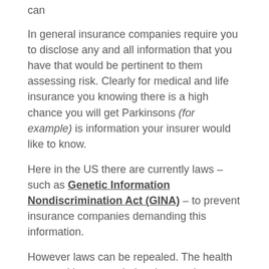can
In general insurance companies require you to disclose any and all information that you have that would be pertinent to them assessing risk. Clearly for medical and life insurance you knowing there is a high chance you will get Parkinsons (for example) is information your insurer would like to know.
Here in the US there are currently laws – such as Genetic Information Nondiscrimination Act (GINA) – to prevent insurance companies demanding this information.
However laws can be repealed. The health care and insurance industries are the 'leaders' in government lobbying. 23andMe could be aquired by an insurance firm.